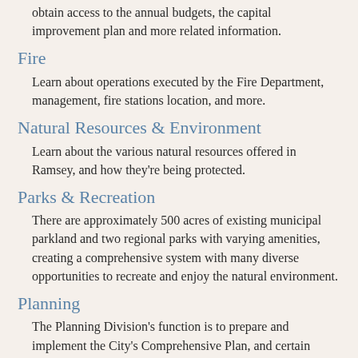obtain access to the annual budgets, the capital improvement plan and more related information.
Fire
Learn about operations executed by the Fire Department, management, fire stations location, and more.
Natural Resources & Environment
Learn about the various natural resources offered in Ramsey, and how they're being protected.
Parks & Recreation
There are approximately 500 acres of existing municipal parkland and two regional parks with varying amenities, creating a comprehensive system with many diverse opportunities to recreate and enjoy the natural environment.
Planning
The Planning Division's function is to prepare and implement the City's Comprehensive Plan, and certain